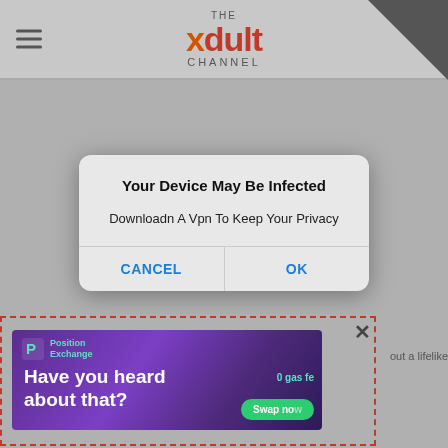[Figure (screenshot): Screenshot of a mobile web browser showing the xdult Channel website with a fake virus alert dialog ('Your Device May Be Infected - Downloadn A Vpn To Keep Your Privacy') overlaid on the page, and a purple 'Position Exchange' advertisement banner at the bottom with a red dashed border overlay highlighting it.]